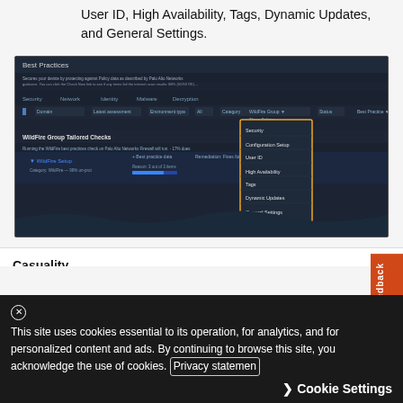User ID, High Availability, Tags, Dynamic Updates, and General Settings.
[Figure (screenshot): Screenshot of a Best Practices interface showing a dark-themed UI with navigation tabs, filter rows, and a dropdown menu containing options including Security, Configuration, User ID, High Availability, Tags, Dynamic Updates, and General Settings. A yellow-bordered dropdown is visible on the right side.]
Casuality Chain Visualization
You can now visualize the process executed and the associated events and triggers for samples using analysis data provided by WildFire. Hover over the process node to display more information about the process. Click Activity > Search and enter a file hash to...
This site uses cookies essential to its operation, for analytics, and for personalized content and ads. By continuing to browse this site, you acknowledge the use of cookies. Privacy statement
Cookie Settings